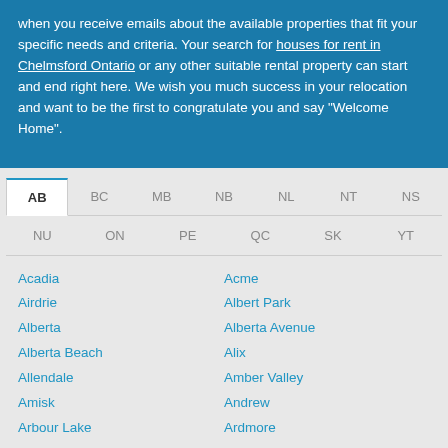when you receive emails about the available properties that fit your specific needs and criteria. Your search for houses for rent in Chelmsford Ontario or any other suitable rental property can start and end right here. We wish you much success in your relocation and want to be the first to congratulate you and say "Welcome Home".
AB
BC
MB
NB
NL
NT
NS
NU
ON
PE
QC
SK
YT
Acadia
Acme
Airdrie
Albert Park
Alberta
Alberta Avenue
Alberta Beach
Alix
Allendale
Amber Valley
Amisk
Andrew
Arbour Lake
Ardmore